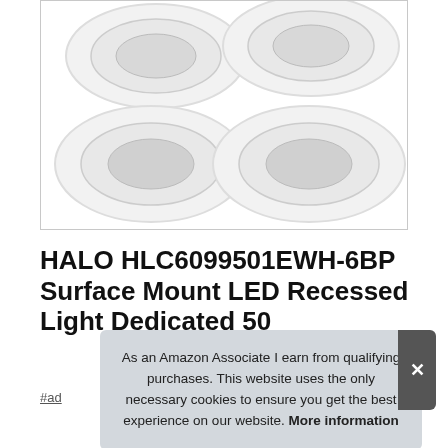[Figure (photo): Six round white recessed LED light fixtures arranged in two rows of three on a white background, shown in a bordered product image box.]
HALO HLC6099501EWH-6BP Surface Mount LED Recessed Light Dedicated 50
#ad
As an Amazon Associate I earn from qualifying purchases. This website uses the only necessary cookies to ensure you get the best experience on our website. More information